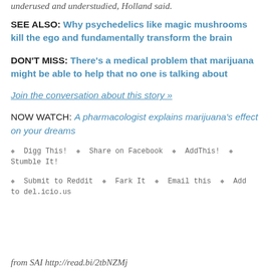underused and understudied, Holland said.
SEE ALSO: Why psychedelics like magic mushrooms kill the ego and fundamentally transform the brain
DON'T MISS: There's a medical problem that marijuana might be able to help that no one is talking about
Join the conversation about this story »
NOW WATCH: A pharmacologist explains marijuana's effect on your dreams
◆ Digg This!   ◆ Share on Facebook   ◆ AddThis!   ◆ Stumble It!
◆ Submit to Reddit   ◆ Fark It   ◆ Email this   ◆ Add to del.icio.us
from SAI http://read.bi/2tbNZMj